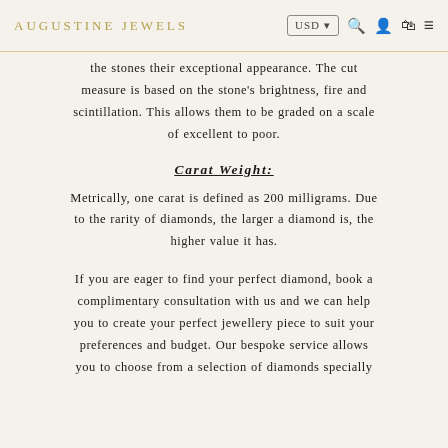AUGUSTINE JEWELS   USD ▾  🔍  👤  🛒  ≡
the stones their exceptional appearance. The cut measure is based on the stone's brightness, fire and scintillation. This allows them to be graded on a scale of excellent to poor.
Carat Weight:
Metrically, one carat is defined as 200 milligrams. Due to the rarity of diamonds, the larger a diamond is, the higher value it has.
If you are eager to find your perfect diamond, book a complimentary consultation with us and we can help you to create your perfect jewellery piece to suit your preferences and budget. Our bespoke service allows you to choose from a selection of diamonds specially